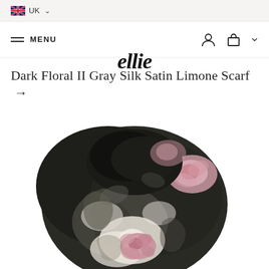UK
≡ MENU   ellie
Dark Floral II Gray Silk Satin Limone Scarf →
[Figure (photo): A silk satin scarf with a dark floral print featuring pink, white, and black flower patterns, bunched and draped artistically on a white background.]